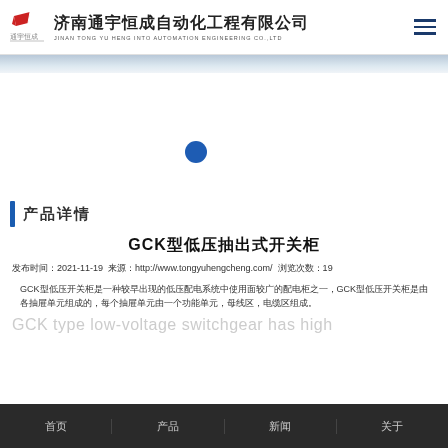济南通宇恒成自动化工程有限公司 JINAN TONG YU HENG INTO AUTOMATION ENGINEERING CO.,LTD
[Figure (other): Blue gradient decorative bar below header]
[Figure (other): White hero area with a single blue circle dot navigation indicator]
产品详情
GCK型低压抽出式开关柜
发布时间：2021-11-19 来源：http://www.tongyuhengcheng.com/ 浏览次数：19
GCK型低压开关柜是一种较早出现的低压配电系统中使用面较广的配电柜之一，GCK型低压开关柜是由各抽屉单元组成的，每个抽屉单元由一个功能单元，母线区，电缆区组成。
GCK type low-voltage switchgear has high
首页 产品 新闻 关于